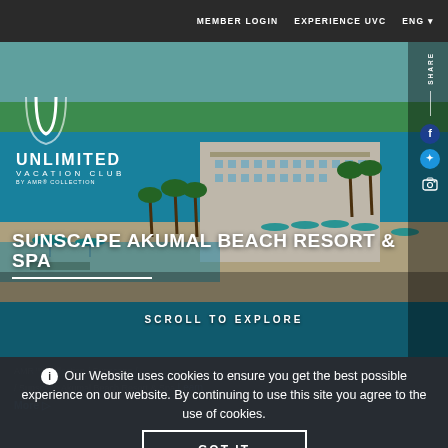MEMBER LOGIN   EXPERIENCE UVC   ENG
[Figure (photo): Aerial/beach view of Sunscape Akumal Beach Resort & Spa, showing turquoise Caribbean water, white sandy beach, resort buildings, and lush green palm trees.]
SUNSCAPE AKUMAL BEACH RESORT & SPA
SCROLL TO EXPLORE
Our Website uses cookies to ensure you get the best possible experience on our website. By continuing to use this site you agree to the use of cookies.
GOT IT
AMR™ Collection / Sunscape / Sunscape Akumal Beach Resort & Spa
Learn More ▷